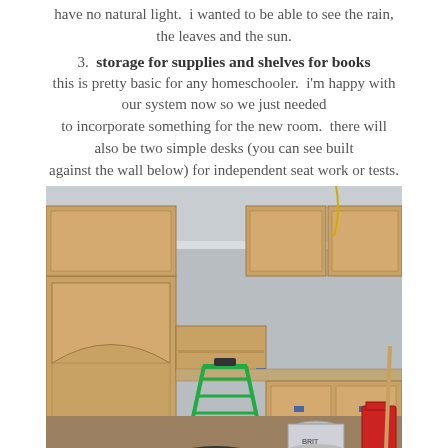have no natural light.  i wanted to be able to see the rain, the leaves and the sun.
3.  storage for supplies and shelves for books
this is pretty basic for any homeschooler.  i'm happy with our system now so we just needed to incorporate something for the new room.  there will also be two simple desks (you can see built against the wall below) for independent seat work or tests.
[Figure (photo): Under-construction room showing unfinished wooden cabinets and shelving units being built along the walls, a green step ladder in the center, drywall with visible screw holes, and construction supplies including a bucket and tools on the floor.]